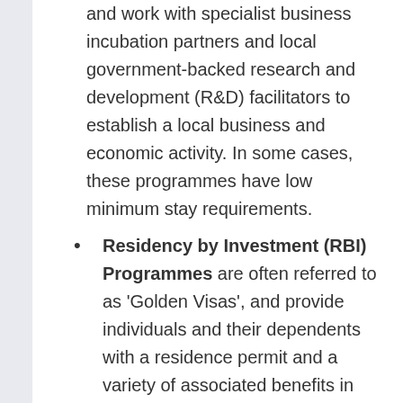and work with specialist business incubation partners and local government-backed research and development (R&D) facilitators to establish a local business and economic activity. In some cases, these programmes have low minimum stay requirements.
Residency by Investment (RBI) Programmes are often referred to as 'Golden Visas', and provide individuals and their dependents with a residence permit and a variety of associated benefits in exchange for a wide range of investment and donation options. Programmes such as this have low